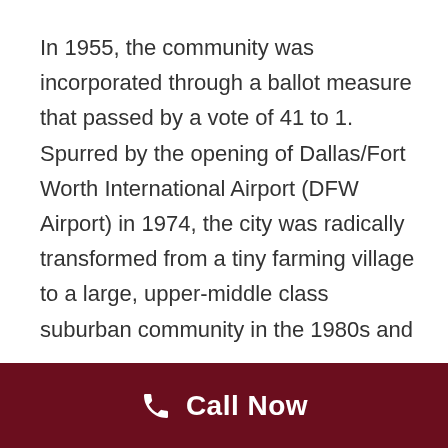In 1955, the community was incorporated through a ballot measure that passed by a vote of 41 to 1. Spurred by the opening of Dallas/Fort Worth International Airport (DFW Airport) in 1974, the city was radically transformed from a tiny farming village to a large, upper-middle class suburban community in the 1980s and 1990s. By 2000, almost all of the residentially zoned land in the city was developed, and the population grew to over 35,000. In addition to suburban homes, the city has a growing commercial base of warehouses and transportation centers on the south and west
Call Now